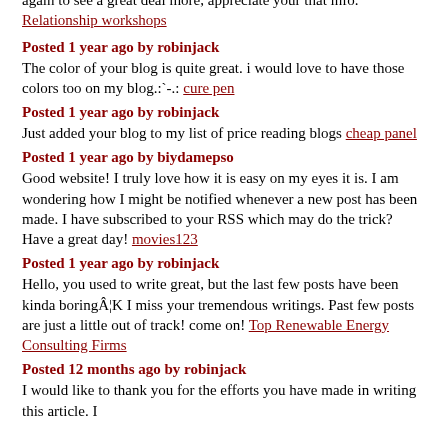again to see a great deal more, appreciate your that info. Relationship workshops
Posted 1 year ago by robinjack
The color of your blog is quite great. i would love to have those colors too on my blog.:`-.: cure pen
Posted 1 year ago by robinjack
Just added your blog to my list of price reading blogs cheap panel
Posted 1 year ago by biydamepso
Good website! I truly love how it is easy on my eyes it is. I am wondering how I might be notified whenever a new post has been made. I have subscribed to your RSS which may do the trick? Have a great day! movies123
Posted 1 year ago by robinjack
Hello, you used to write great, but the last few posts have been kinda boringÂ¦K I miss your tremendous writings. Past few posts are just a little out of track! come on! Top Renewable Energy Consulting Firms
Posted 12 months ago by robinjack
I would like to thank you for the efforts you have made in writing this article. I